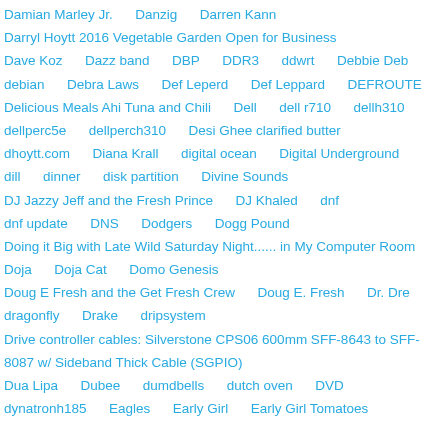Damian Marley Jr.    Danzig    Darren Kann
Darryl Hoytt 2016 Vegetable Garden Open for Business
Dave Koz    Dazz band    DBP    DDR3    ddwrt    Debbie Deb
debian    Debra Laws    Def Leperd    Def Leppard    DEFROUTE
Delicious Meals Ahi Tuna and Chili    Dell    dell r710    dellh310
dellperc5e    dellperch310    Desi Ghee clarified butter
dhoytt.com    Diana Krall    digital ocean    Digital Underground
dill    dinner    disk partition    Divine Sounds
DJ Jazzy Jeff and the Fresh Prince    DJ Khaled    dnf
dnf update    DNS    Dodgers    Dogg Pound
Doing it Big with Late Wild Saturday Night...... in My Computer Room
Doja    Doja Cat    Domo Genesis
Doug E Fresh and the Get Fresh Crew    Doug E. Fresh    Dr. Dre
dragonfly    Drake    dripsystem
Drive controller cables: Silverstone CPS06 600mm SFF-8643 to SFF-8087 w/ Sideband Thick Cable (SGPIO)
Dua Lipa    Dubee    dumdbells    dutch oven    DVD
dynatronh185    Eagles    Early Girl    Early Girl Tomatoes